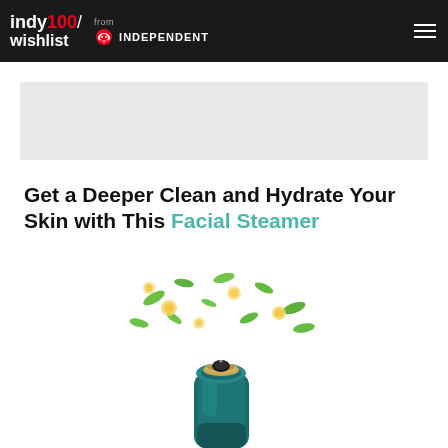indy100/ wishlist from INDEPENDENT
[Figure (other): Grey ad banner placeholder rectangle]
Get a Deeper Clean and Hydrate Your Skin with This Facial Steamer
[Figure (photo): A teal/dark green facial steamer device emitting steam with green leaves and yellow flower petals floating upward, shown on white background]